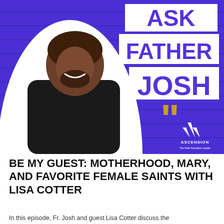[Figure (photo): Podcast cover art for 'Ask Father Josh' showing a smiling Black priest in a clerical collar against a purple brick wall background, with large bold text reading 'ASK FATHER JOSH' and gold quotation marks. Ascension logo visible in bottom right corner.]
BE MY GUEST: MOTHERHOOD, MARY, AND FAVORITE FEMALE SAINTS WITH LISA COTTER
In this episode, Fr. Josh and guest Lisa Cotter discuss the